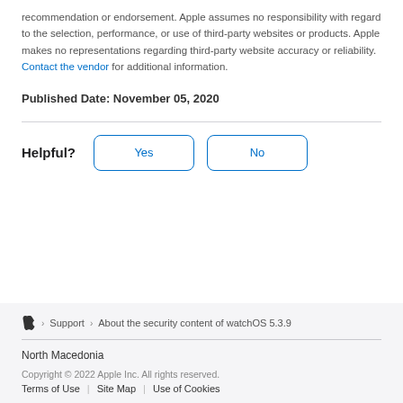recommendation or endorsement. Apple assumes no responsibility with regard to the selection, performance, or use of third-party websites or products. Apple makes no representations regarding third-party website accuracy or reliability. Contact the vendor for additional information.
Published Date: November 05, 2020
Helpful? Yes No
Apple › Support › About the security content of watchOS 5.3.9
North Macedonia
Copyright © 2022 Apple Inc. All rights reserved.
Terms of Use | Site Map | Use of Cookies